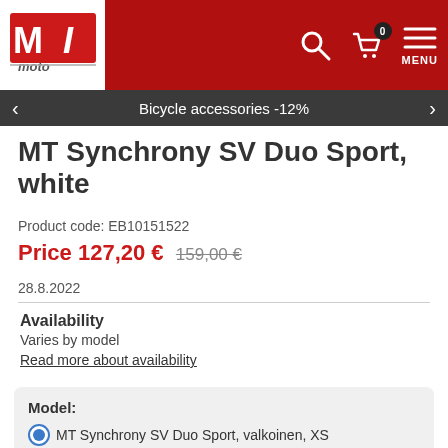[Figure (logo): MJ Moto logo in red and white on white background]
Bicycle accessories -12%
MT Synchrony SV Duo Sport, white
Product code: EB10151522
Price 127,20 € 159,00 €
28.8.2022
Availability
Varies by model
Read more about availability
Model:
MT Synchrony SV Duo Sport, valkoinen, XS